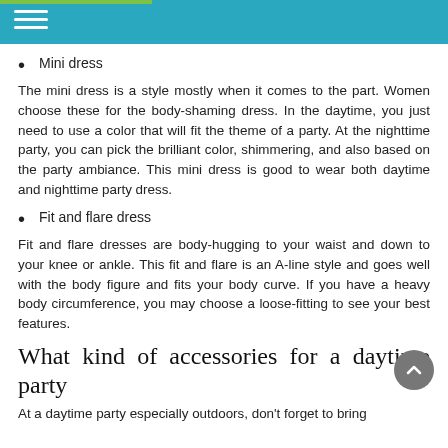Mini dress
The mini dress is a style mostly when it comes to the part. Women choose these for the body-shaming dress. In the daytime, you just need to use a color that will fit the theme of a party. At the nighttime party, you can pick the brilliant color, shimmering, and also based on the party ambiance. This mini dress is good to wear both daytime and nighttime party dress.
Fit and flare dress
Fit and flare dresses are body-hugging to your waist and down to your knee or ankle. This fit and flare is an A-line style and goes well with the body figure and fits your body curve. If you have a heavy body circumference, you may choose a loose-fitting to see your best features.
What kind of accessories for a daytime party
At a daytime party especially outdoors, don't forget to bring